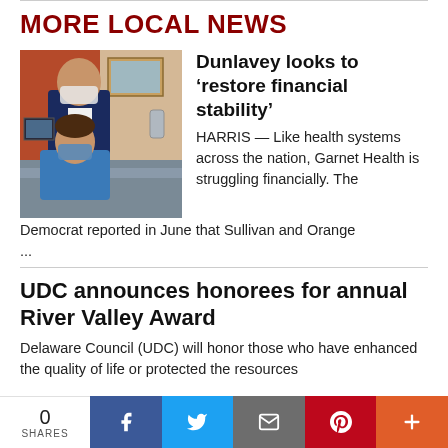MORE LOCAL NEWS
[Figure (photo): Two people wearing face masks in an office setting; one standing person in a dark suit behind a seated person in a blue outfit]
Dunlavey looks to ‘restore financial stability’
HARRIS — Like health systems across the nation, Garnet Health is struggling financially. The Democrat reported in June that Sullivan and Orange ...
UDC announces honorees for annual River Valley Award
Delaware Council (UDC) will honor those who have enhanced the quality of life or protected the resources